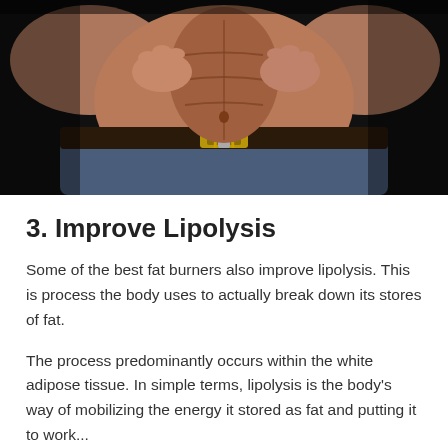[Figure (photo): A muscular person's torso unzipping their own skin like a zipper to reveal defined abdominal muscles beneath, with hands gripping the skin on either side, wearing jeans with a belt, dark background.]
3. Improve Lipolysis
Some of the best fat burners also improve lipolysis. This is process the body uses to actually break down its stores of fat.
The process predominantly occurs within the white adipose tissue. In simple terms, lipolysis is the body's way of mobilizing the energy it stored as fat and putting it to work...